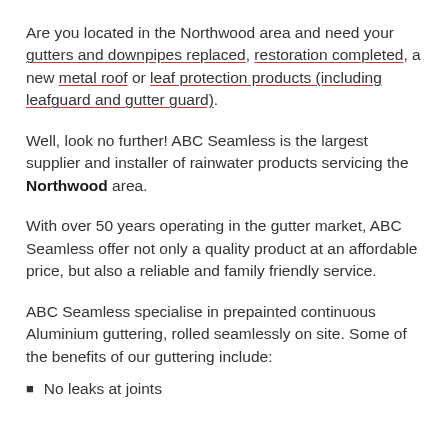Are you located in the Northwood area and need your gutters and downpipes replaced, restoration completed, a new metal roof or leaf protection products (including leafguard and gutter guard).
Well, look no further! ABC Seamless is the largest supplier and installer of rainwater products servicing the Northwood area.
With over 50 years operating in the gutter market, ABC Seamless offer not only a quality product at an affordable price, but also a reliable and family friendly service.
ABC Seamless specialise in prepainted continuous Aluminium guttering, rolled seamlessly on site. Some of the benefits of our guttering include:
No leaks at joints